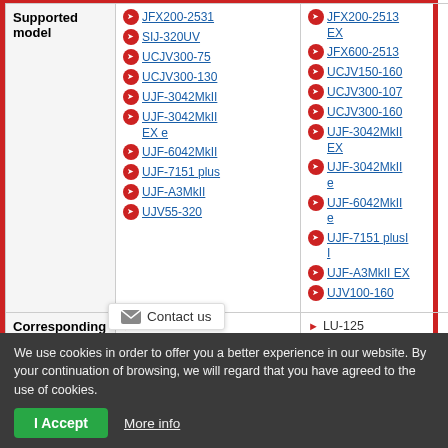| Supported model |  |  |
| --- | --- | --- |
| Supported model | JFX200-2531, SIJ-320UV, UCJV300-75, UCJV300-130, UJF-3042MkII, UJF-3042MkII EX e, UJF-6042MkII, UJF-7151 plus, UJF-A3MkII, UJV55-320 | JFX200-2513 EX, JFX600-2513, UCJV150-160, UCJV300-107, UCJV300-160, UJF-3042MkII EX, UJF-3042MkII e, UJF-6042MkII e, UJF-7151 plusII, UJF-A3MkII EX, UJV100-160 |
| Corresponding Ink | LH-100, LUS-120 | LU-125, LUS-150 |
We use cookies in order to offer you a better experience in our website. By your continuation of browsing, we will regard that you have agreed to the use of cookies.
Contact us